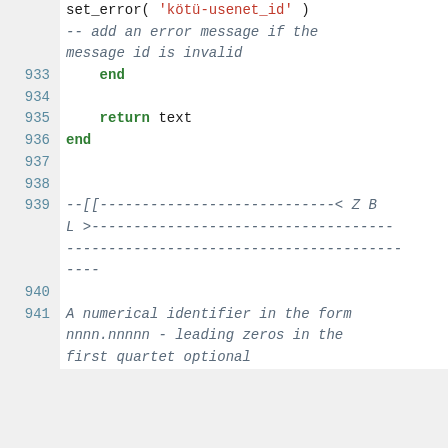set_error( 'kötü-usenet_id' )
-- add an error message if the
message id is invalid
933     end
934
935     return text
936 end
937
938
939 --[[----------------------------< Z B
L >------------------------------------
----------------------------------------
----
940
941 A numerical identifier in the form
nnnn.nnnnn - leading zeros in the
first quartet optional